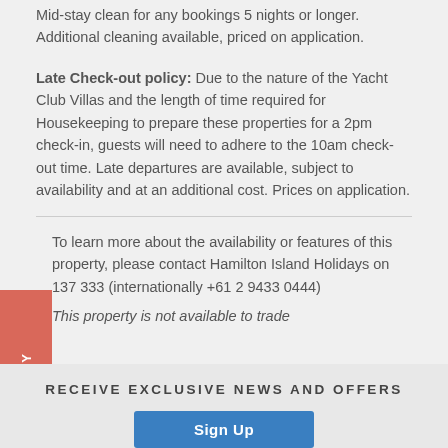Mid-stay clean for any bookings 5 nights or longer. Additional cleaning available, priced on application.
Late Check-out policy: Due to the nature of the Yacht Club Villas and the length of time required for Housekeeping to prepare these properties for a 2pm check-in, guests will need to adhere to the 10am check-out time. Late departures are available, subject to availability and at an additional cost. Prices on application.
To learn more about the availability or features of this property, please contact Hamilton Island Holidays on 137 333 (internationally +61 2 9433 0444)
This property is not available to trade
ABOUT YOUR STAY
RECEIVE EXCLUSIVE NEWS AND OFFERS
Sign Up